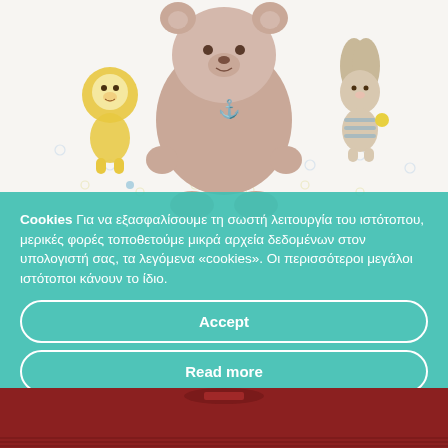[Figure (photo): Baby product image showing cartoon animal characters: a lion, a large teddy bear, and a bunny on a light patterned fabric/blanket background.]
Cookies Για να εξασφαλίσουμε τη σωστή λειτουργία του ιστότοπου, μερικές φορές τοποθετούμε μικρά αρχεία δεδομένων στον υπολογιστή σας, τα λεγόμενα «cookies». Οι περισσότεροι μεγάλοι ιστότοποι κάνουν το ίδιο.
Accept
Read more
Change Settings
[Figure (photo): Bottom portion of a dark red/maroon children's clothing item (sweater or top).]